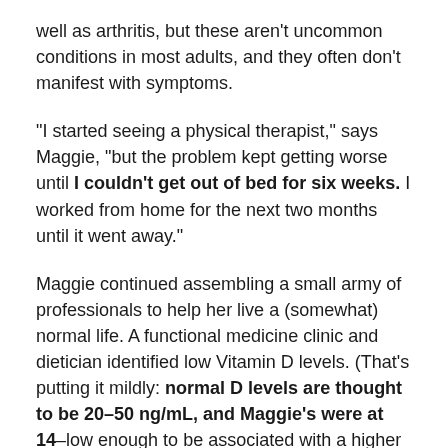well as arthritis, but these aren't uncommon conditions in most adults, and they often don't manifest with symptoms.
“I started seeing a physical therapist,” says Maggie, “but the problem kept getting worse until I couldn’t get out of bed for six weeks. I worked from home for the next two months until it went away.”
Maggie continued assembling a small army of professionals to help her live a (somewhat) normal life. A functional medicine clinic and dietician identified low Vitamin D levels. (That’s putting it mildly: normal D levels are thought to be 20–50 ng/mL, and Maggie’s were at 14–low enough to be associated with a higher risk of all-cause mortality).
Lifestyle changes brought tenuous improvements, but by the end of 2019, she was in even greater...